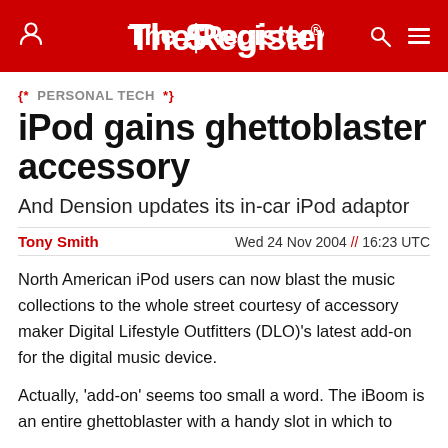The Register
PERSONAL TECH
iPod gains ghettoblaster accessory
And Dension updates its in-car iPod adaptor
Tony Smith   Wed 24 Nov 2004 // 16:23 UTC
North American iPod users can now blast the music collections to the whole street courtesy of accessory maker Digital Lifestyle Outfitters (DLO)'s latest add-on for the digital music device.
Actually, 'add-on' seems too small a word. The iBoom is an entire ghettoblaster with a handy slot in which to